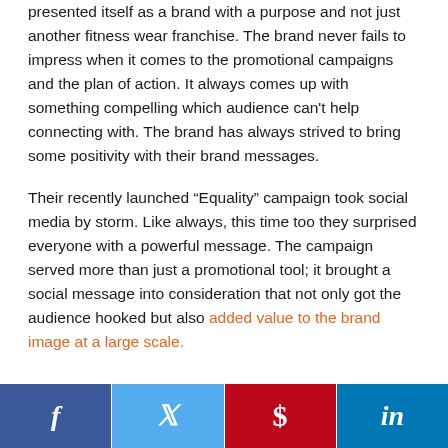presented itself as a brand with a purpose and not just another fitness wear franchise. The brand never fails to impress when it comes to the promotional campaigns and the plan of action. It always comes up with something compelling which audience can't help connecting with. The brand has always strived to bring some positivity with their brand messages.
Their recently launched “Equality” campaign took social media by storm. Like always, this time too they surprised everyone with a powerful message. The campaign served more than just a promotional tool; it brought a social message into consideration that not only got the audience hooked but also added value to the brand image at a large scale.
[Figure (infographic): Social media share bar with Facebook, Twitter, Pinterest, and LinkedIn buttons]